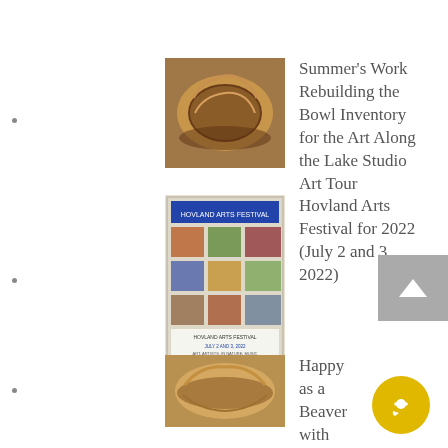Summer's Work Rebuilding the Bowl Inventory for the Art Along the Lake Studio Art Tour
Hovland Arts Festival for 2022 (July 2 and 3, 2022)
Happy as a Beaver with More Aspen Burl Bowls Turned